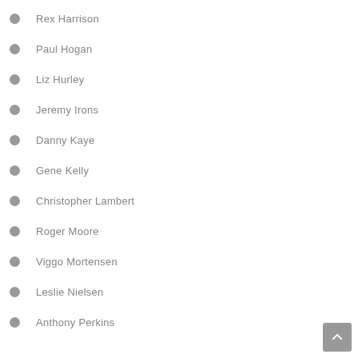Rex Harrison
Paul Hogan
Liz Hurley
Jeremy Irons
Danny Kaye
Gene Kelly
Christopher Lambert
Roger Moore
Viggo Mortensen
Leslie Nielsen
Anthony Perkins